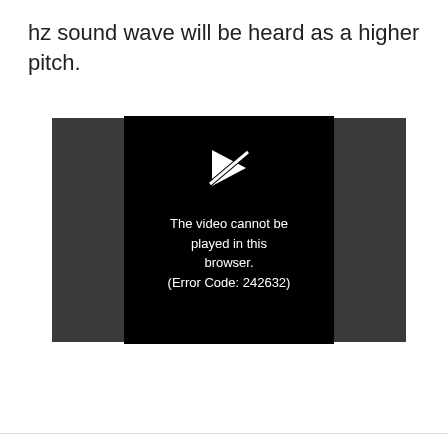hz sound wave will be heard as a higher pitch.
[Figure (screenshot): Video player showing error: 'The video cannot be played in this browser. (Error Code: 242632)' on a dark background with a broken play icon.]